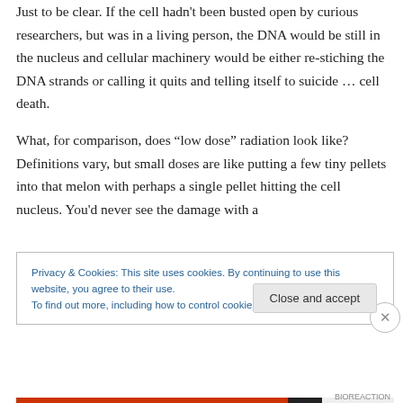Just to be clear. If the cell hadn't been busted open by curious researchers, but was in a living person, the DNA would be still in the nucleus and cellular machinery would be either re-stiching the DNA strands or calling it quits and telling itself to suicide … cell death.
What, for comparison, does “low dose” radiation look like? Definitions vary, but small doses are like putting a few tiny pellets into that melon with perhaps a single pellet hitting the cell nucleus. You'd never see the damage with a
Privacy & Cookies: This site uses cookies. By continuing to use this website, you agree to their use.
To find out more, including how to control cookies, see here: Cookie Policy